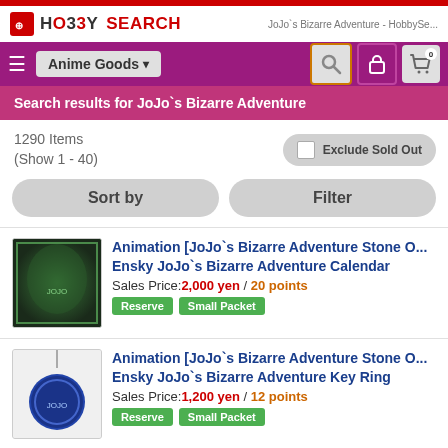HO33Y SEARCH — JoJo`s Bizarre Adventure - HobbySe...
Search results for JoJo`s Bizarre Adventure
1290 Items (Show 1 - 40)
Animation [JoJo`s Bizarre Adventure Stone O... Ensky JoJo`s Bizarre Adventure Calendar — Sales Price: 2,000 yen / 20 points — Reserve | Small Packet
Animation [JoJo`s Bizarre Adventure Stone O... Ensky JoJo`s Bizarre Adventure Key Ring — Sales Price: 1,200 yen / 12 points — Reserve | Small Packet
Animation [JoJo`s Bizarre Adventure Stone O... Ensky JoJo`s Bizarre Adventure Key Ring